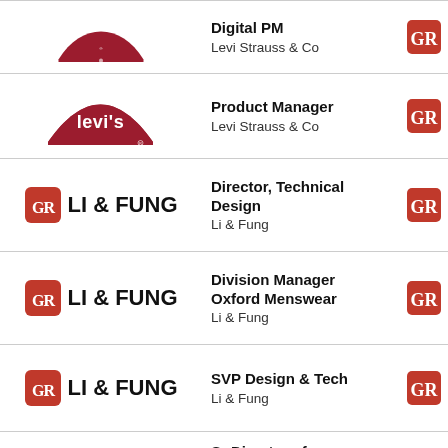[Figure (logo): Levi Strauss & Co logo (top, partial) with job title Digital PM]
Digital PM
Levi Strauss & Co
[Figure (logo): Levi's red tab logo]
Product Manager
Levi Strauss & Co
[Figure (logo): Li & Fung logo]
Director, Technical Design
Li & Fung
[Figure (logo): Li & Fung logo]
Division Manager Oxford Menswear
Li & Fung
[Figure (logo): Li & Fung logo]
SVP Design & Tech
Li & Fung
[Figure (logo): Loeffler Randall logo]
Sr Director of Development and Production
Loeffler Randall